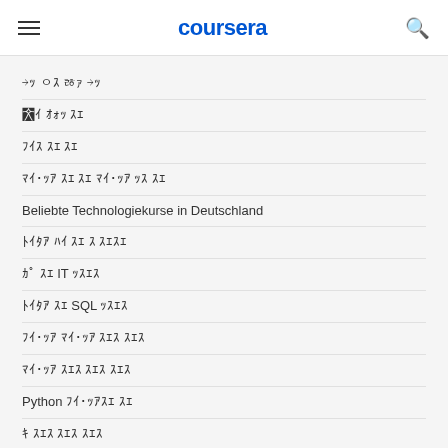coursera
모든 수준 및 경력 수준
무료 온라인 강좌
파이썬 강좌 수료
마케팅 강좌 수료 마케팅 인증서 및 강좌
Beliebte Technologiekurse in Deutschland
데이터 분석 강좌 및 자격증
구글 클라우드 IT 인증서
데이터 분석 SQL 인증서
프리랜서 마케팅 분석가 강좌
머신러닝 강좌 수료 분야별 강좌
Python 프로그래밍 강좌
웹 개발자 강좌 및 자격증
사이버 보안 강좌 수료
UX 디자인 강좌 및 자격증